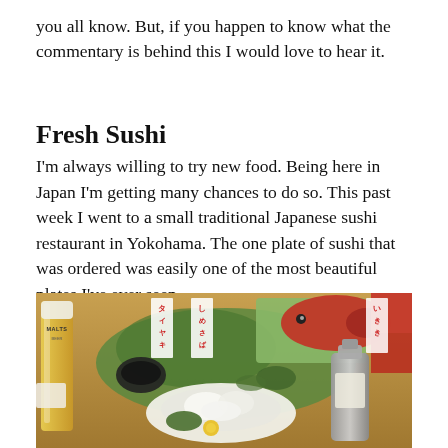you all know. But, if you happen to know what the commentary is behind this I would love to hear it.
Fresh Sushi
I'm always willing to try new food. Being here in Japan I'm getting many chances to do so. This past week I went to a small traditional Japanese sushi restaurant in Yokohama. The one plate of sushi that was ordered was easily one of the most beautiful plates I've ever seen.
[Figure (photo): Photo of a Japanese sushi restaurant table with a beer glass (MALTS brand), various fresh fish on display with Japanese signs, a plate of white sashimi, garnishes including yellow chrysanthemum flower, and a soy sauce dispenser.]